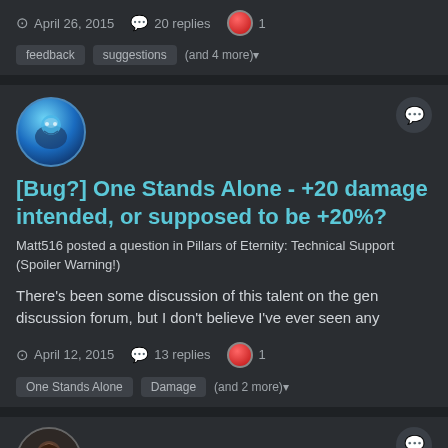April 26, 2015  20 replies  1
feedback  suggestions  (and 4 more)
[Bug?] One Stands Alone - +20 damage intended, or supposed to be +20%?
Matt516 posted a question in Pillars of Eternity: Technical Support (Spoiler Warning!)
There's been some discussion of this talent on the gen discussion forum, but I don't believe I've ever seen any
April 12, 2015  13 replies  1
One Stands Alone  Damage  (and 2 more)